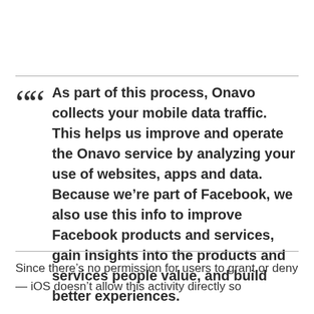As part of this process, Onavo collects your mobile data traffic. This helps us improve and operate the Onavo service by analyzing your use of websites, apps and data. Because we're part of Facebook, we also use this info to improve Facebook products and services, gain insights into the products and services people value, and build better experiences.
Since there's no permission for users to grant or deny — iOS doesn't allow this activity directly so